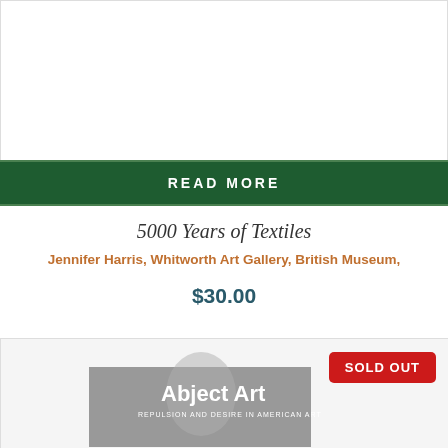[Figure (other): Top section of a product card with white space above a dark green READ MORE button]
READ MORE
5000 Years of Textiles
Jennifer Harris, Whitworth Art Gallery, British Museum,
$30.00
[Figure (photo): Book cover of 'Abject Art: Repulsion and Desire in American Art' with a grayscale image of a human torso and the title text in white]
SOLD OUT